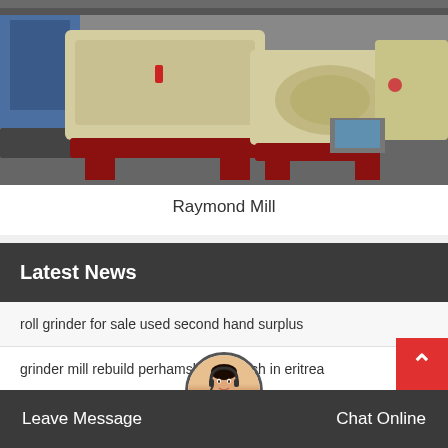[Figure (photo): Industrial Raymond Mill machines in a factory setting, large beige/cream colored machines on red metal frames with a blue machine visible in the background]
Raymond Mill
Latest News
roll grinder for sale used second hand surplus
grinder mill rebuild perhamslodyczelech in eritrea
edco single disc floor grinder cuba
price for 125l ultra price grinder in zaire
Leave Message
Chat Online